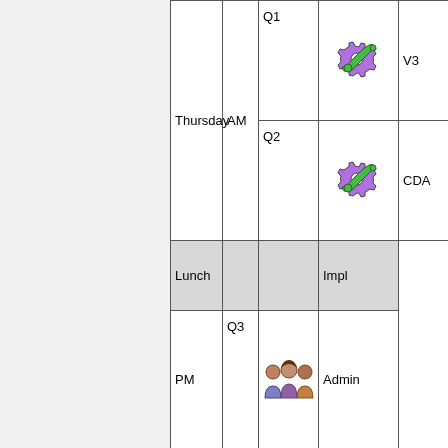|  | Thursday | AM/PM | Q | Icon | Label |
| --- | --- | --- | --- | --- | --- |
|  | Thursday | AM | Q1 | [gear icon] | V3 |
|  |  |  | Q2 | [gear icon] | CDA |
|  |  | Lunch |  |  | Impl |
|  |  | PM | Q3 | [people icon] | Admin |